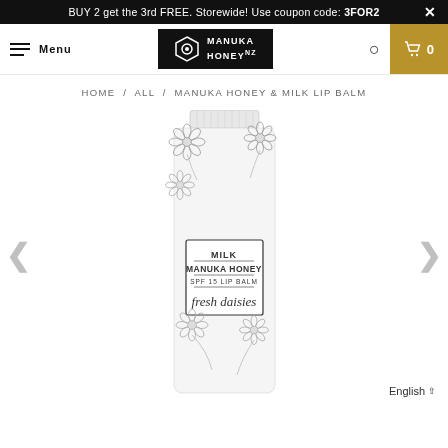BUY 2 get the 3rd FREE. Storewide! Use coupon code: 3FOR2
[Figure (logo): Manuka Honey NZ logo with hexagon icon on black background]
HOME / ALL / MANUKA HONEY & MILK LIP BALM
[Figure (photo): Manuka Honey & Milk SPF 15 Lip Balm tube in fresh daisies design, white tube with daisy floral pattern and label reading MILK MANUKA HONEY SPF 15 LIP BALM fresh daisies]
English